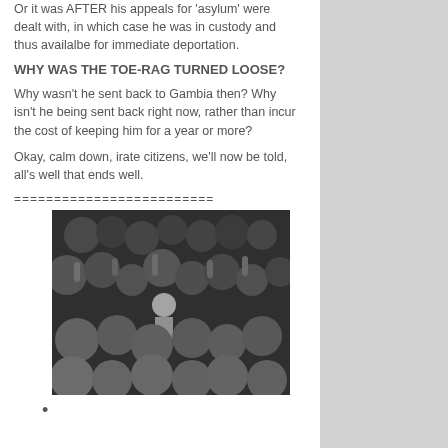Or it was AFTER his appeals for 'asylum' were dealt with, in which case he was in custody and thus availalbe for immediate deportation.
WHY WAS THE TOE-RAG TURNED LOOSE?
Why wasn't he sent back to Gambia then? Why isn't he being sent back right now, rather than incur the cost of keeping him for a year or more?
Okay, calm down, irate citizens, we'll now be told, all's well that ends well.
=========================
[Figure (photo): Black and white photograph of a large crowd of people, many raising their hands, with a child visible in the middle of the crowd.]
•